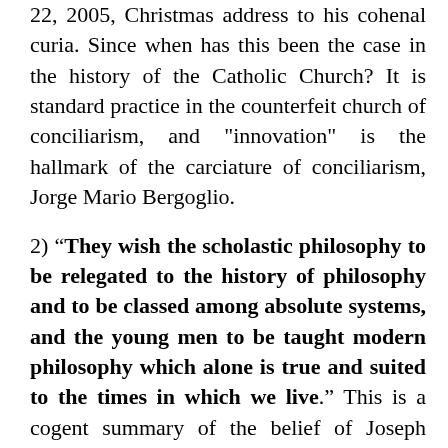22, 2005, Christmas address to his cohenal curia. Since when has this been the case in the history of the Catholic Church? It is standard practice in the counterfeit church of conciliarism, and "innovation" is the hallmark of the carciature of conciliarism, Jorge Mario Bergoglio.
2) "They wish the scholastic philosophy to be relegated to the history of philosophy and to be classed among absolute systems, and the young men to be taught modern philosophy which alone is true and suited to the times in which we live." This is a cogent summary of the belief of Joseph Ratzinger/Benedict XVI himself, which he outlined in Principles of Catholic Theology and in his own autobiography, Milestones. Bergoglio has no